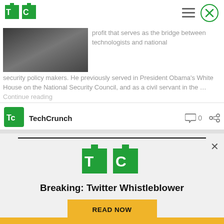TechCrunch navigation bar
[Figure (logo): TechCrunch TC green logo top left]
profit that serves as the bridge between technologists and national security policy makers. He previously served in President Obama's White House on the National Security Council, and as a civil servant in the … Continue reading
[Figure (photo): Black and white article thumbnail photo]
TechCrunch  0
[Figure (logo): TechCrunch TC green logo in author row]
Breaking: Twitter Whistleblower READ NOW
[Figure (logo): Large TechCrunch TC green logo in advertisement banner]